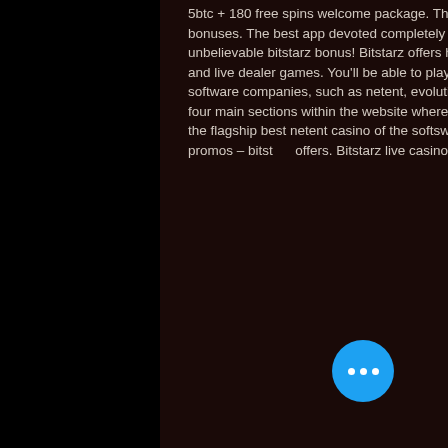5btc + 180 free spins welcome package. The wizard reviews bitstarz casino and analyzes the casino's games and bonuses. The best app devoted completely on bitstarz casino! inside you'll find real money games, bitstarz slots, and unbelievable bitstarz bonus! Bitstarz offers hundreds of games, including video slots, table and card games, video poker, and live dealer games. You'll be able to play with five different. These entertaining casino games are provided by the best software companies, such as netent, evolution gaming, betsoft, isoftbet, softswiss, ezugi, amatic. Safesite describes the four main sections within the website where players can enjoy slots, jackpots, live casino games and table games. Meet the flagship best netent casino of the softswiss platform - bitstarz. Slots, personal vip manager, generous bonuses and promos – bitstarz offers. Bitstarz live casino is home to more than 100 tables playing roulette, blackjack